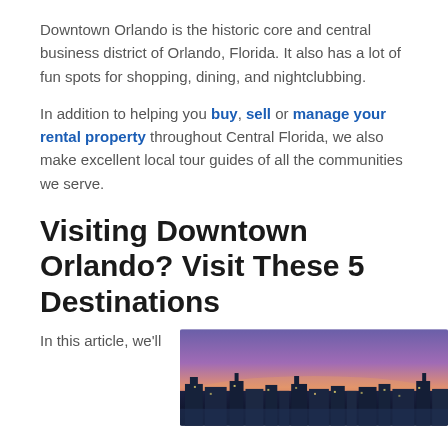Downtown Orlando is the historic core and central business district of Orlando, Florida. It also has a lot of fun spots for shopping, dining, and nightclubbing.
In addition to helping you buy, sell or manage your rental property throughout Central Florida, we also make excellent local tour guides of all the communities we serve.
Visiting Downtown Orlando? Visit These 5 Destinations
In this article, we'll
[Figure (photo): Aerial photograph of Downtown Orlando skyline at sunset/dusk with purple and pink sky]